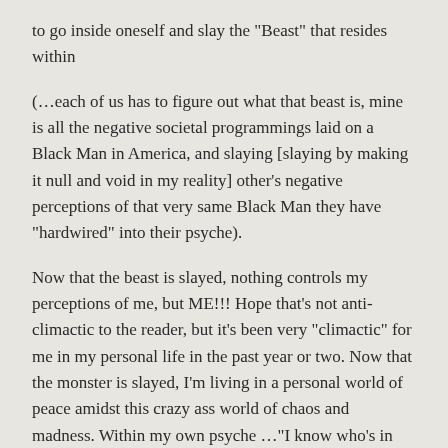to go inside oneself and slay the "Beast" that resides within
(...each of us has to figure out what that beast is, mine is all the negative societal programmings laid on a Black Man in America, and slaying [slaying by making it null and void in my reality] other's negative perceptions of that very same Black Man they have "hardwired" into their psyche).
Now that the beast is slayed, nothing controls my perceptions of me, but ME!!! Hope that's not anti-climactic to the reader, but it's been very "climactic" for me in my personal life in the past year or two. Now that the monster is slayed, I'm living in a personal world of peace amidst this crazy ass world of chaos and madness. Within my own psyche ..."I know who's in command here" !!!!.
~stay healthy~